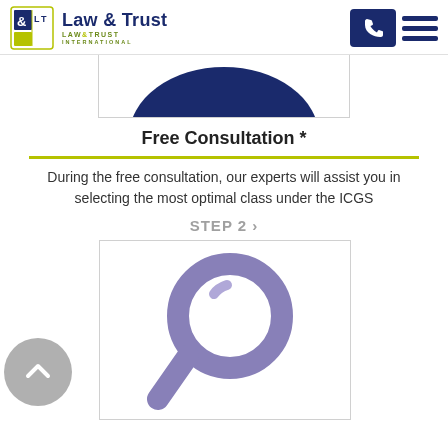Law & Trust
[Figure (illustration): Partial blue shape visible at top, cropped step 1 illustration card]
Free Consultation *
During the free consultation, our experts will assist you in selecting the most optimal class under the ICGS
STEP 2 >
[Figure (illustration): Large purple magnifying glass icon inside a white card with gray border]